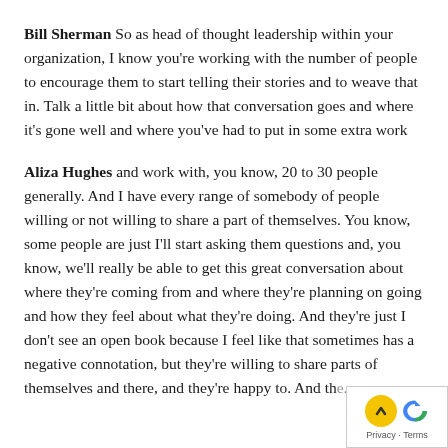Bill Sherman So as head of thought leadership within your organization, I know you're working with the number of people to encourage them to start telling their stories and to weave that in. Talk a little bit about how that conversation goes and where it's gone well and where you've had to put in some extra work
Aliza Hughes and work with, you know, 20 to 30 people generally. And I have every range of somebody of people willing or not willing to share a part of themselves. You know, some people are just I'll start asking them questions and, you know, we'll really be able to get this great conversation about where they're coming from and where they're planning on going and how they feel about what they're doing. And they're just I don't see an open book because I feel like that sometimes has a negative connotation, but they're willing to share parts of themselves and there, and they're happy to. And the...